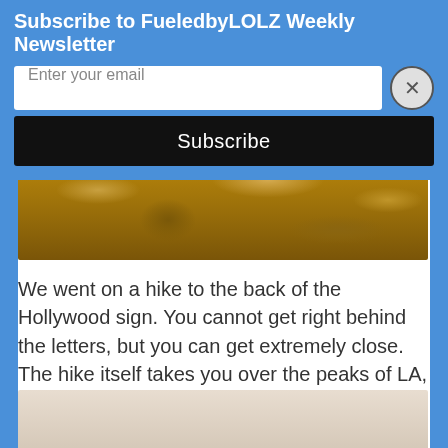Subscribe to FueledbyLOLZ Weekly Newsletter
Enter your email
Subscribe
[Figure (photo): Rocky terrain / dirt close-up photograph, brown and golden tones]
We went on a hike to the back of the Hollywood sign.  You cannot get right behind the letters, but you can get extremely close.  The hike itself takes you over the peaks of LA, and then you hike across the top.  It was a moderate hike with about 1000 elevation gain and 4 miles round trip.  I'm not a hiker, but I made it through.
[Figure (photo): Partially visible landscape photo at bottom, light beige/tan tones]